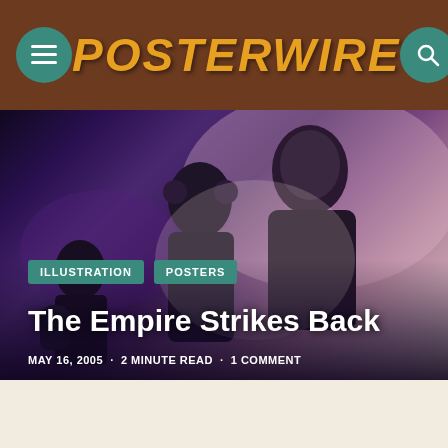POSTERWIRE
[Figure (photo): Hero banner image showing Star Wars Empire Strikes Back movie poster art — romantic scene with Han Solo and Princess Leia, with other characters in background, purple/blue moody tones]
ILLUSTRATION
POSTERS
The Empire Strikes Back
MAY 16, 2005 · 2 MINUTE READ · 1 COMMENT
[Figure (photo): Bottom portion of Star Wars movie poster with text 'THE STAR WARS SAGA CONTINUES' on dark blue/purple space background with spacecraft]